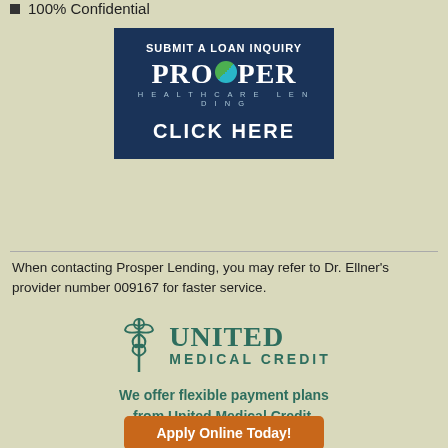100% Confidential
[Figure (logo): Prosper Healthcare Lending logo with dark navy background, 'SUBMIT A LOAN INQUIRY' text at top, PROSPER logo with green/teal S circle, 'HEALTHCARE LENDING' subtitle, and 'CLICK HERE' call to action]
When contacting Prosper Lending, you may refer to Dr. Ellner's provider number 009167 for faster service.
[Figure (logo): United Medical Credit logo with caduceus symbol in teal/green and 'UNITED MEDICAL CREDIT' text]
We offer flexible payment plans from United Medical Credit.
Apply Online Today!